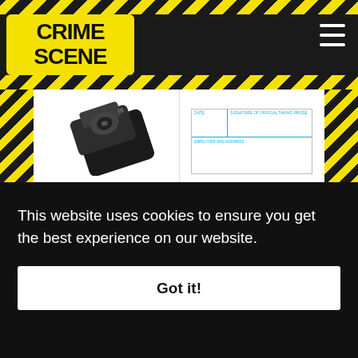[Figure (logo): Crime Scene logo — yellow rounded rectangle with bold black text reading CRIME SCENE with yellow/black diagonal stripes above and below]
[Figure (photo): Latent fingerprint kit device, dark colored tool]
Latent Fingerprint Kit
$ 44.00 A real print kit, fully stocked with instructions and enough supplies for at least 50 different print lifts. Shop
[Figure (photo): FD-258 fingerprint card form with blue lines, fields: DATE, SIGNATURE OF OFFICIAL TAKING PRODE, EMPLOYER AND ADDRESS]
FD-258 Fingerprint Cards, Applicant
$ 4.50 – $ 150.00 The standard FBI fingerprint card, form No. FD-258 version: 11-1-20 used for noncriminal fingerprinting
This website uses cookies to ensure you get the best experience on our website.
Got it!